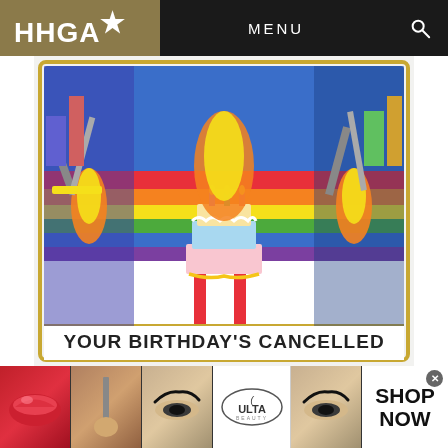HHGA★ | MENU
[Figure (illustration): Colorful illustrated album art for 'Your Birthday's Cancelled' by Iron Wigs, featuring a birthday cake surrounded by weapons and urban imagery, with text 'YOUR BIRTHDAY'S CANCELLED' at the bottom.]
Chicago emcees Vic Spencer and Verbal Kent joined forces with UK's Sonnyjim (who also produced the entire album) to form Iron Wigs. A surprising collaboration taking into
[Figure (photo): Advertisement banner for Ulta Beauty showing close-up makeup images (lips, brush, eyes, Ulta logo) with 'SHOP NOW' text.]